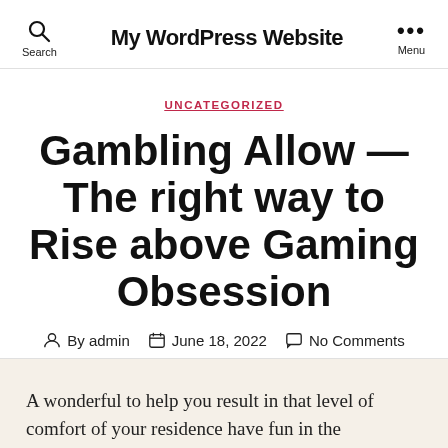My WordPress Website
UNCATEGORIZED
Gambling Allow — The right way to Rise above Gaming Obsession
By admin   June 18, 2022   No Comments
A wonderful to help you result in that level of comfort of your residence have fun in the advantages hypnotherapy